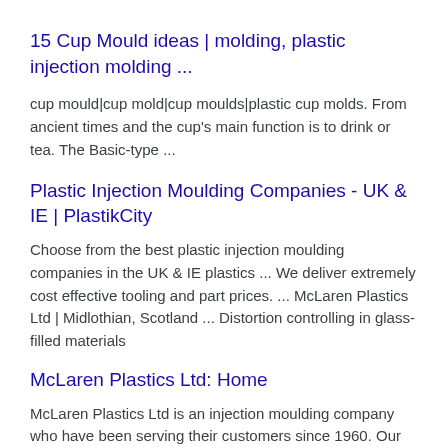15 Cup Mould ideas | molding, plastic injection molding ...
cup mould|cup mold|cup moulds|plastic cup molds. From ancient times and the cup's main function is to drink or tea. The Basic-type ...
Plastic Injection Moulding Companies - UK & IE | PlastikCity
Choose from the best plastic injection moulding companies in the UK & IE plastics ... We deliver extremely cost effective tooling and part prices. ... McLaren Plastics Ltd | Midlothian, Scotland ... Distortion controlling in glass-filled materials
McLaren Plastics Ltd: Home
McLaren Plastics Ltd is an injection moulding company who have been serving their customers since 1960. Our reputation is based on our